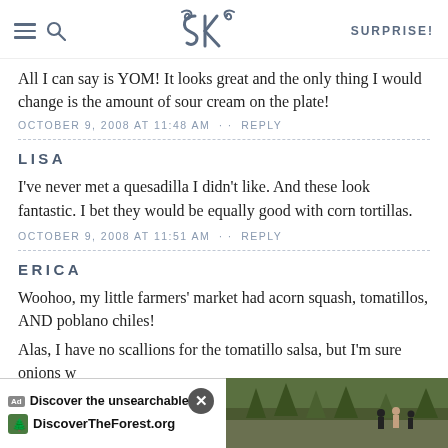SK | SURPRISE!
All I can say is YOM! It looks great and the only thing I would change is the amount of sour cream on the plate!
OCTOBER 9, 2008 AT 11:48 AM · · REPLY
LISA
I've never met a quesadilla I didn't like. And these look fantastic. I bet they would be equally good with corn tortillas.
OCTOBER 9, 2008 AT 11:51 AM · · REPLY
ERICA
Woohoo, my little farmers' market had acorn squash, tomatillos, AND poblano chiles!
Alas, I have no scallions for the tomatillo salsa, but I'm sure onions w...
[Figure (screenshot): Advertisement bar at bottom: 'Discover the unsearchable' with DiscoverTheForest.org and a photo of people in a forest. Close button visible.]